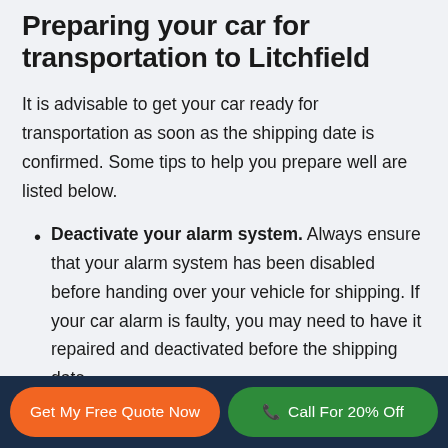Preparing your car for transportation to Litchfield
It is advisable to get your car ready for transportation as soon as the shipping date is confirmed. Some tips to help you prepare well are listed below.
Deactivate your alarm system. Always ensure that your alarm system has been disabled before handing over your vehicle for shipping. If your car alarm is faulty, you may need to have it repaired and deactivated before the shipping date.
Get My Free Quote Now
Call For 20% Off